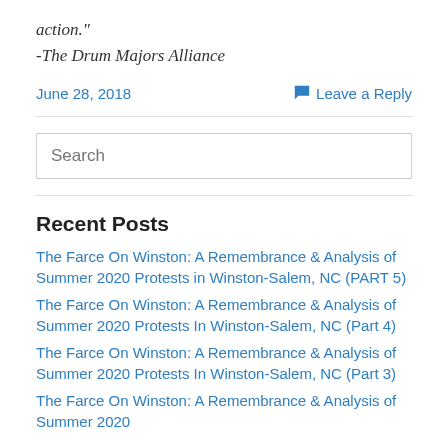action."
-The Drum Majors Alliance
June 28, 2018
Leave a Reply
Search
Recent Posts
The Farce On Winston: A Remembrance & Analysis of Summer 2020 Protests in Winston-Salem, NC (PART 5)
The Farce On Winston: A Remembrance & Analysis of Summer 2020 Protests In Winston-Salem, NC (Part 4)
The Farce On Winston: A Remembrance & Analysis of Summer 2020 Protests In Winston-Salem, NC (Part 3)
The Farce On Winston: A Remembrance & Analysis of Summer 2020